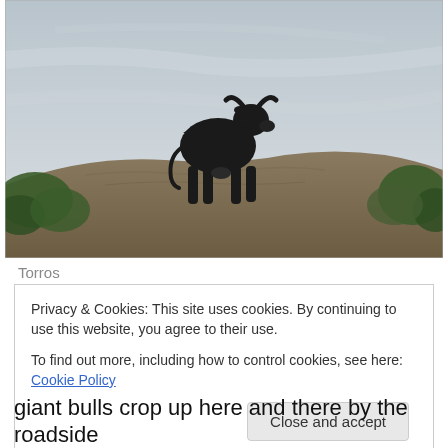[Figure (photo): Black silhouette of a bull statue standing on a rocky hillside with scrubby green vegetation and a grey-blue sky in the background. This is a Osborne bull (Toro de Osborne), a roadside landmark common in Spain.]
Torros
Privacy & Cookies: This site uses cookies. By continuing to use this website, you agree to their use.
To find out more, including how to control cookies, see here: Cookie Policy
giant bulls crop up here and there by the roadside